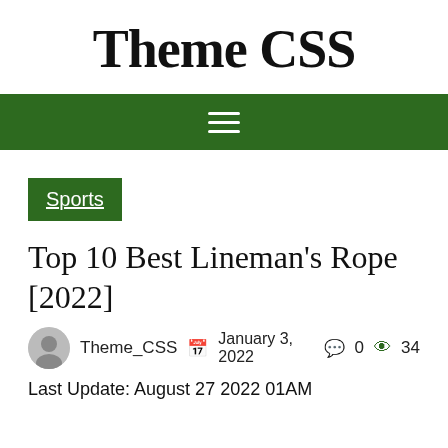Theme CSS
[Figure (other): Green navigation bar with hamburger menu icon (three white horizontal lines)]
Sports
Top 10 Best Lineman's Rope [2022]
Theme_CSS  January 3, 2022  0  34
Last Update: August 27 2022 01AM